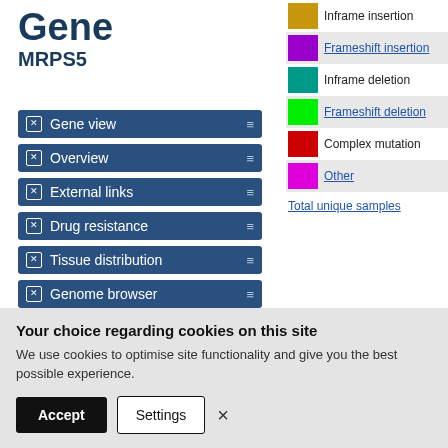Gene MRPS5
Gene view
Overview
External links
Drug resistance
Tissue distribution
Genome browser
Mutation distribution
[Figure (other): Legend showing mutation types with color swatches: Inframe insertion (gold/orange), Frameshift insertion (purple, linked), Inframe deletion (teal), Frameshift deletion (green, linked), Complex mutation (red), Other (magenta, linked), Total unique samples (linked)]
Your choice regarding cookies on this site
We use cookies to optimise site functionality and give you the best possible experience.
Accept   Settings   ×